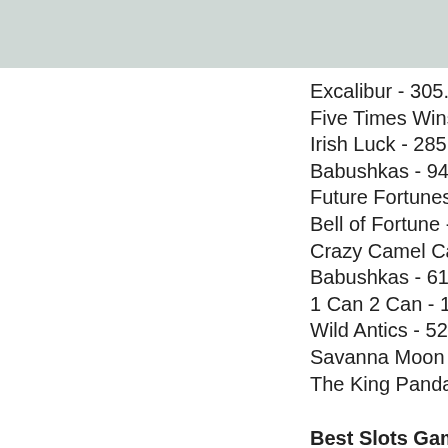Excalibur - 305.9 usd
Five Times Wins - 47
Irish Luck - 285.4 eth
Babushkas - 94.2 ltc
Future Fortunes - 70
Bell of Fortune - 577
Crazy Camel Cash -
Babushkas - 617.6 b
1 Can 2 Can - 183.9
Wild Antics - 524.9 b
Savanna Moon - 159
The King Panda - 11
Best Slots Games:
Bspin.io Casino Wum
Sportsbet.io Monster
Bitcasino.io Sultans o
Betcoin.ag Casino R
Playamo Casino The